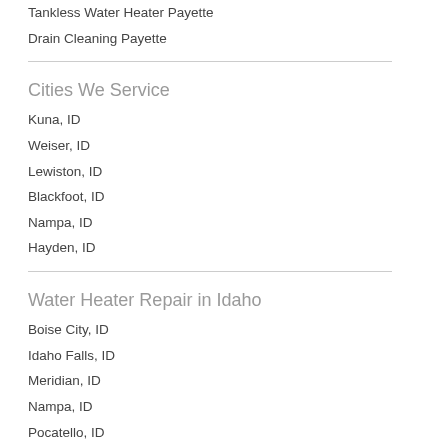Tankless Water Heater Payette
Drain Cleaning Payette
Cities We Service
Kuna, ID
Weiser, ID
Lewiston, ID
Blackfoot, ID
Nampa, ID
Hayden, ID
Water Heater Repair in Idaho
Boise City, ID
Idaho Falls, ID
Meridian, ID
Nampa, ID
Pocatello, ID
Twin Falls, ID